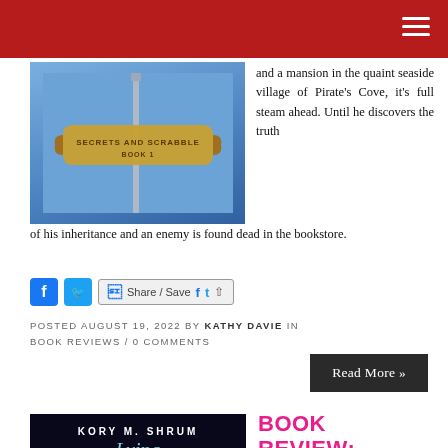and a mansion in the quaint seaside village of Pirate's Cove, it's full steam ahead. Until he discovers the truth of his inheritance and an enemy is found dead in the bookstore.
[Figure (illustration): Book cover for 'Secrets and Scrabble Book 1' with a scroll/banner design on a blue background]
[Figure (infographic): Social share buttons: Facebook icon, Twitter icon, Share/Save button with Facebook and Twitter icons and share arrow icon]
POSTED AUGUST 19, 2022 BY KATHY DAVIE IN BOOK REVIEWS / 0 COMMENTS
Read More »
[Figure (illustration): Book cover for a Kory M. Shrum novel, dark background with light blue title text]
BOOK REVIEW: DYING FOR A